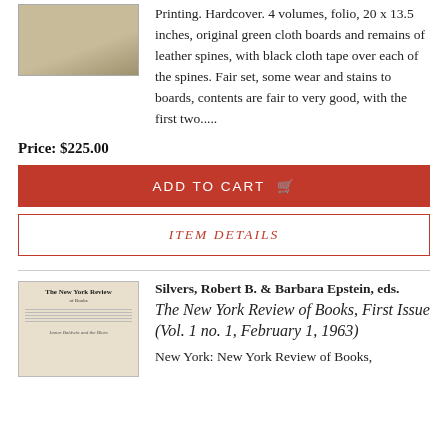[Figure (photo): Photo of old hardcover book with worn green cloth boards]
Printing. Hardcover. 4 volumes, folio, 20 x 13.5 inches, original green cloth boards and remains of leather spines, with black cloth tape over each of the spines. Fair set, some wear and stains to boards, contents are fair to very good, with the first two.....
Price: $225.00
ADD TO CART
ITEM DETAILS
[Figure (photo): Photo of The New York Review of Books first issue magazine cover]
Silvers, Robert B. & Barbara Epstein, eds.
The New York Review of Books, First Issue (Vol. 1 no. 1, February 1, 1963)
New York: New York Review of Books,